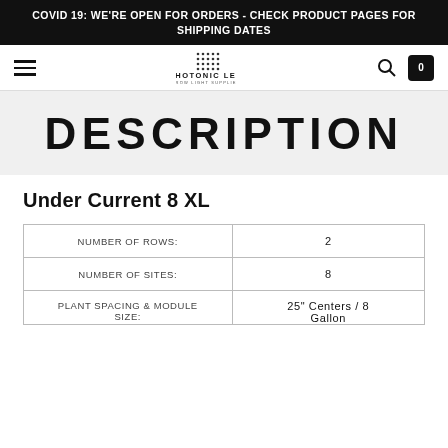COVID 19: WE'RE OPEN FOR ORDERS - CHECK PRODUCT PAGES FOR SHIPPING DATES
[Figure (logo): Photonic LED Grow Light Supplier logo with dot grid pattern above the text]
DESCRIPTION
Under Current 8 XL
|  |  |
| --- | --- |
| NUMBER OF ROWS: | 2 |
| NUMBER OF SITES: | 8 |
| PLANT SPACING & MODULE SIZE: | 25" Centers / 8 Gallon |